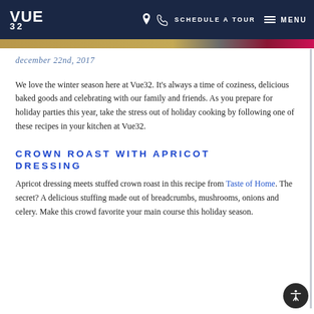VUE 32 | SCHEDULE A TOUR | MENU
COOK UP THESE HOLIDAY DINNERS IN YOUR KITCHEN AT VUE32
december 22nd, 2017
We love the winter season here at Vue32. It's always a time of coziness, delicious baked goods and celebrating with our family and friends. As you prepare for holiday parties this year, take the stress out of holiday cooking by following one of these recipes in your kitchen at Vue32.
CROWN ROAST WITH APRICOT DRESSING
Apricot dressing meets stuffed crown roast in this recipe from Taste of Home. The secret? A delicious stuffing made out of breadcrumbs, mushrooms, onions and celery. Make this crowd favorite your main course this holiday season.